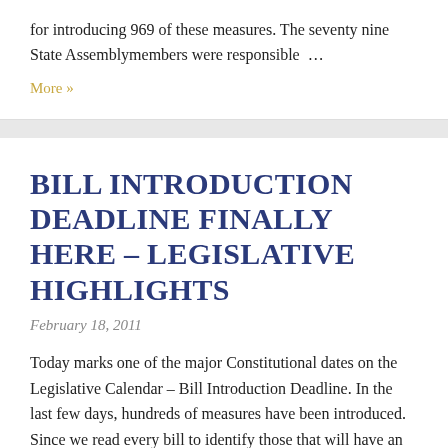for introducing 969 of these measures. The seventy nine State Assemblymembers were responsible …
More »
BILL INTRODUCTION DEADLINE FINALLY HERE – LEGISLATIVE HIGHLIGHTS
February 18, 2011
Today marks one of the major Constitutional dates on the Legislative Calendar – Bill Introduction Deadline. In the last few days, hundreds of measures have been introduced. Since we read every bill to identify those that will have an impact on our industry, it will take a few days to catch up. However, below are a few